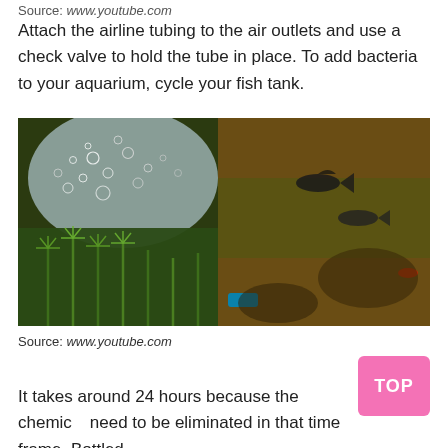Source: www.youtube.com
Attach the airline tubing to the air outlets and use a check valve to hold the tube in place. To add bacteria to your aquarium, cycle your fish tank.
[Figure (photo): Underwater aquarium photo showing green aquatic plants on the left with air bubbles rising, and small fish swimming on the right side against a brownish background with algae-covered rocks. A blue object is visible near the bottom center.]
Source: www.youtube.com
It takes around 24 hours because the chemical need to be eliminated in that time frame. Bottled